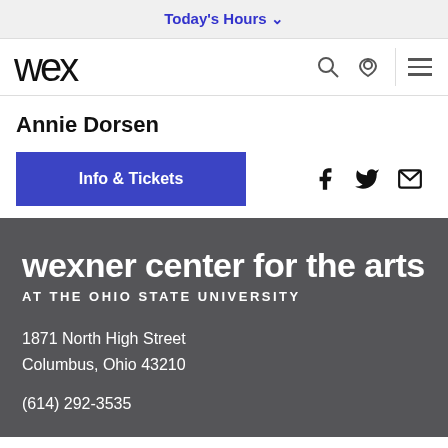Today's Hours ▾
[Figure (logo): Wexner Center logo - stylized 'wex' text with navigation icons (search, location, hamburger menu)]
Annie Dorsen
Info & Tickets
Social icons: Facebook, Twitter, Email
wexner center for the arts
AT THE OHIO STATE UNIVERSITY
1871 North High Street
Columbus, Ohio 43210
(614) 292-3535